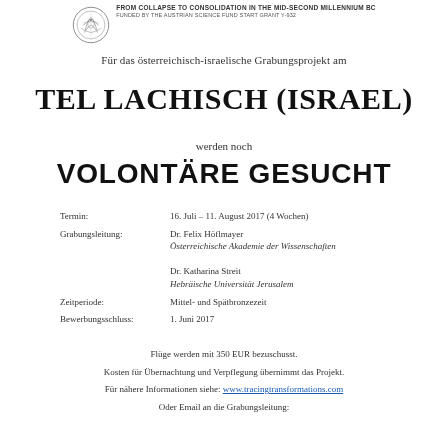FROM COLLAPSE TO CONSOLIDATION IN THE MID-SECOND MILLENNIUM BC
FUNDED BY THE AUSTRIAN SCIENCE FUND START GRANT Y-932
Für das österreichisch-israelische Grabungsprojekt am
TEL LACHISCH (ISRAEL)
werden noch
VOLONTÄRE GESUCHT
Termin: 16. Juli – 11. August 2017 (4 Wochen)
Grabungsleitung: Dr. Felix Höflmayer
Österreichische Akademie der Wissenschaften
Dr. Katharina Streit
Hebräische Universität Jerusalem
Zeitperiode: Mittel- und Spätbronzezeit
Bewerbungsschluss: 1. Juni 2017
Flüge werden mit 350 EUR bezuschusst.
Kosten für Übernachtung und Verpflegung übernimmt das Projekt.
Für nähere Informationen siehe: www.tracingtransformations.com
Oder Email an die Grabungsleitung: